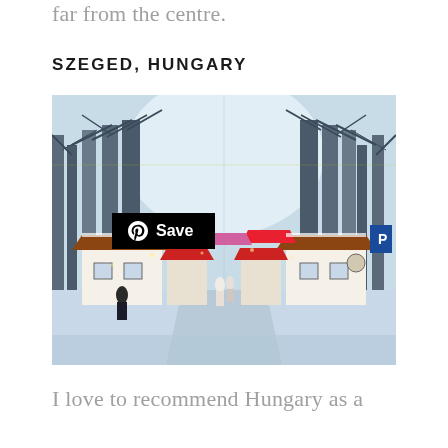far from the centre.
SZEGED, HUNGARY
[Figure (photo): Winter Christmas market scene in Szeged, Hungary. Snow-covered ground with a tree-lined boulevard, market stalls with colorful tents, and people walking. A Pinterest 'Save' button overlay is visible in the upper left corner of the image.]
I love to recommend Hungary as a